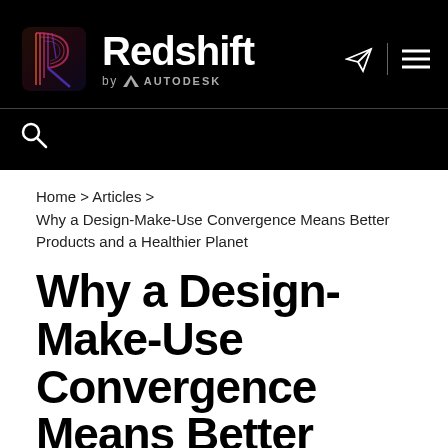Redshift by Autodesk
Home > Articles > Why a Design-Make-Use Convergence Means Better Products and a Healthier Planet
Why a Design-Make-Use Convergence Means Better Products and a Healthier Planet